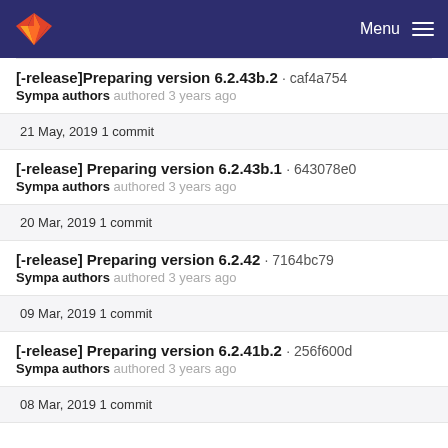GitLab Menu
[-release]Preparing version 6.2.43b.2 · caf4a754
Sympa authors authored 3 years ago
21 May, 2019 1 commit
[-release] Preparing version 6.2.43b.1 · 643078e0
Sympa authors authored 3 years ago
20 Mar, 2019 1 commit
[-release] Preparing version 6.2.42 · 7164bc79
Sympa authors authored 3 years ago
09 Mar, 2019 1 commit
[-release] Preparing version 6.2.41b.2 · 256f600d
Sympa authors authored 3 years ago
08 Mar, 2019 1 commit